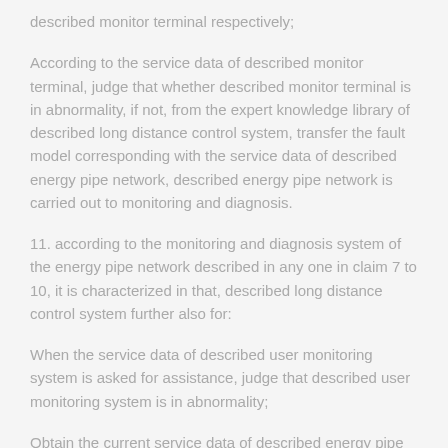described monitor terminal respectively;
According to the service data of described monitor terminal, judge that whether described monitor terminal is in abnormality, if not, from the expert knowledge library of described long distance control system, transfer the fault model corresponding with the service data of described energy pipe network, described energy pipe network is carried out to monitoring and diagnosis.
11. according to the monitoring and diagnosis system of the energy pipe network described in any one in claim 7 to 10, it is characterized in that, described long distance control system further also for:
When the service data of described user monitoring system is asked for assistance, judge that described user monitoring system is in abnormality;
Obtain the current service data of described energy pipe network;
By inference machine, form the fault model mating with the current service data of described energy pipe network,